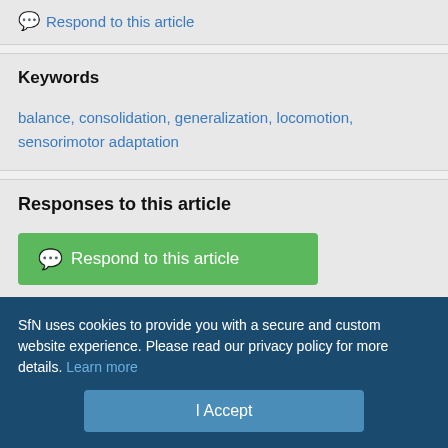💬 Respond to this article
Keywords
balance, consolidation, generalization, locomotion, sensorimotor adaptation
Responses to this article
💬 Respond to this article
Jump to comment:
No eLetters have been published for this article.
SfN uses cookies to provide you with a secure and custom website experience. Please read our privacy policy for more details. Learn more
I Accept